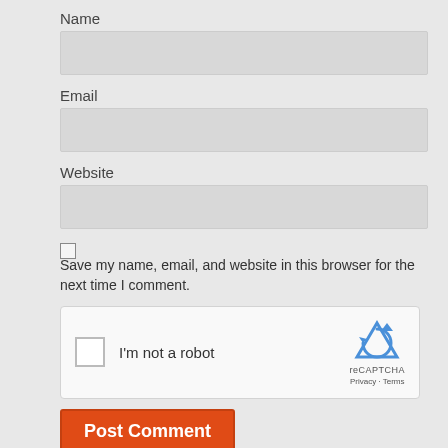Name
[Figure (screenshot): Empty text input field for Name]
Email
[Figure (screenshot): Empty text input field for Email]
Website
[Figure (screenshot): Empty text input field for Website]
Save my name, email, and website in this browser for the next time I comment.
[Figure (screenshot): reCAPTCHA widget with 'I'm not a robot' checkbox and reCAPTCHA logo with Privacy and Terms links]
Post Comment